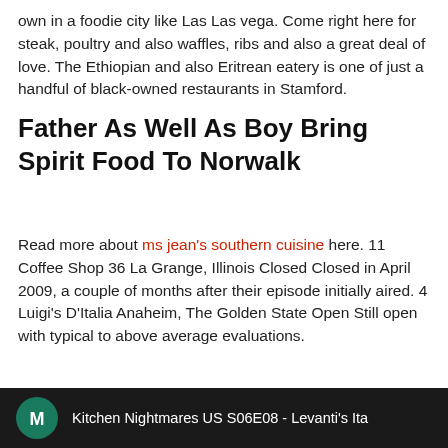own in a foodie city like Las Las vega. Come right here for steak, poultry and also waffles, ribs and also a great deal of love. The Ethiopian and also Eritrean eatery is one of just a handful of black-owned restaurants in Stamford.
Father As Well As Boy Bring Spirit Food To Norwalk
Read more about ms jean's southern cuisine here. 11 Coffee Shop 36 La Grange, Illinois Closed Closed in April 2009, a couple of months after their episode initially aired. 4 Luigi's D'Italia Anaheim, The Golden State Open Still open with typical to above average evaluations.
[Figure (screenshot): Video thumbnail showing Kitchen Nightmares US S06E08 - Levanti's Ita with a teal M channel icon and people sitting at a restaurant table]